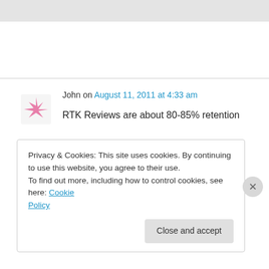[Figure (other): Grey top bar / browser chrome area]
John on August 11, 2011 at 4:33 am
RTK Reviews are about 80-85% retention

KO2001 is 95-100%, probably because I'm adding very few new cards combined with
Privacy & Cookies: This site uses cookies. By continuing to use this website, you agree to their use.
To find out more, including how to control cookies, see here: Cookie Policy
Close and accept